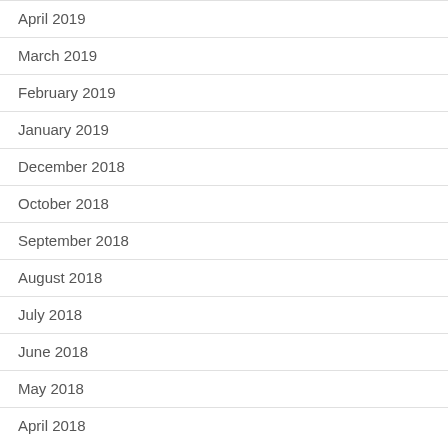April 2019
March 2019
February 2019
January 2019
December 2018
October 2018
September 2018
August 2018
July 2018
June 2018
May 2018
April 2018